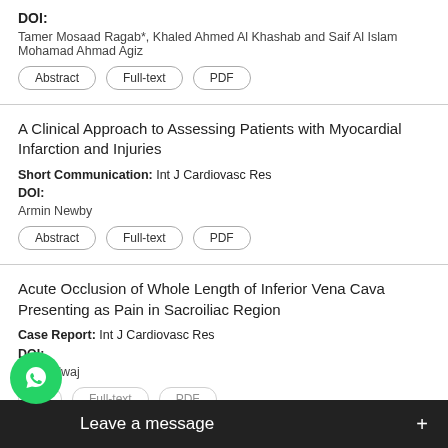DOI:
Tamer Mosaad Ragab*, Khaled Ahmed Al Khashab and Saif Al Islam Mohamad Ahmad Agiz
Abstract | Full-text | PDF
A Clinical Approach to Assessing Patients with Myocardial Infarction and Injuries
Short Communication: Int J Cardiovasc Res
DOI:
Armin Newby
Abstract | Full-text | PDF
Acute Occlusion of Whole Length of Inferior Vena Cava Presenting as Pain in Sacroiliac Region
Case Report: Int J Cardiovasc Res
DOI:
v Bhardwaj
Abstract | Full-text | PDF
An C
Leave a message +